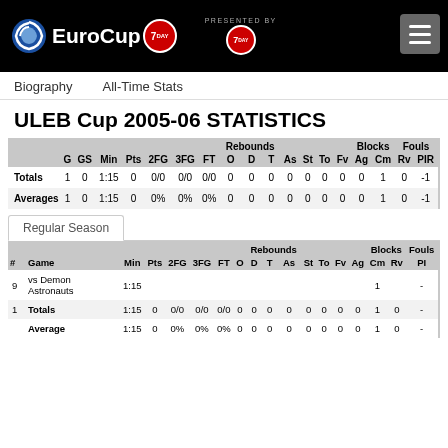EuroCup 7DAYS — Navigation header with logo
Biography   All-Time Stats
ULEB Cup 2005-06 STATISTICS
|  | G | GS | Min | Pts | 2FG | 3FG | FT | O | D | T | As | St | To | Fv | Ag | Cm | Rv | PIR |
| --- | --- | --- | --- | --- | --- | --- | --- | --- | --- | --- | --- | --- | --- | --- | --- | --- | --- | --- |
| Totals | 1 | 0 | 1:15 | 0 | 0/0 | 0/0 | 0/0 | 0 | 0 | 0 | 0 | 0 | 0 | 0 | 0 | 1 | 0 | -1 |
| Averages | 1 | 0 | 1:15 | 0 | 0% | 0% | 0% | 0 | 0 | 0 | 0 | 0 | 0 | 0 | 0 | 1 | 0 | -1 |
Regular Season
| # | Game | Min | Pts | 2FG | 3FG | FT | O | D | T | As | St | To | Fv | Ag | Cm | Rv | PI |
| --- | --- | --- | --- | --- | --- | --- | --- | --- | --- | --- | --- | --- | --- | --- | --- | --- | --- |
| 9 | vs Demon Astronauts | 1:15 |  |  |  |  |  |  |  |  |  |  |  |  | 1 |  | - |
| 1 | Totals | 1:15 | 0 | 0/0 | 0/0 | 0/0 | 0 | 0 | 0 | 0 | 0 | 0 | 0 | 0 | 1 | 0 | - |
|  | Average | 1:15 | 0 | 0% | 0% | 0% | 0 | 0 | 0 | 0 | 0 | 0 | 0 | 0 | 1 | 0 | - |